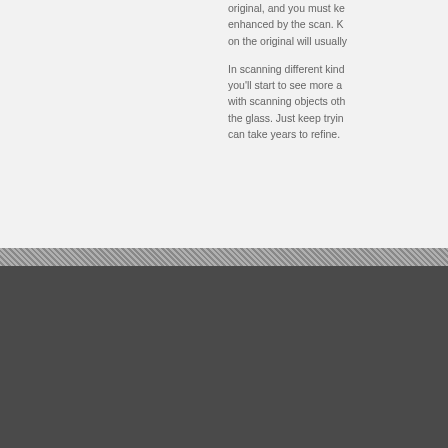original, and you must ke... enhanced by the scan. K... on the original will usually...
In scanning different kind... you'll start to see more a... with scanning objects oth... the glass. Just keep tryin... can take years to refine.
Southeast Mail Service
2610 Palumbo Drive  •  Lexington, KY 40509
Phone 859.266.0192  •  Fax 859.785.1151  •  E-mail
8:00am - 4:30pm M-F EST
Shipping/Receiving Hours - 8:30am - 3:00pm M-F EST
Locations & Hours • Copyright © 2022 Southeast Mail Service